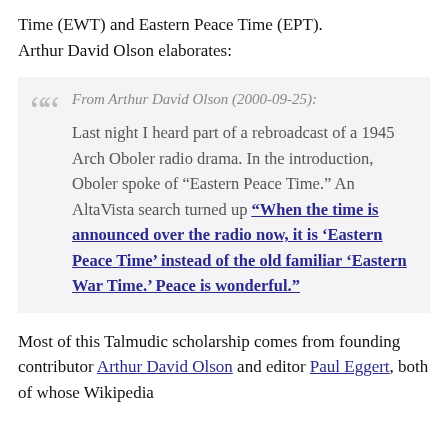Time (EWT) and Eastern Peace Time (EPT). Arthur David Olson elaborates:
From Arthur David Olson (2000-09-25): Last night I heard part of a rebroadcast of a 1945 Arch Oboler radio drama. In the introduction, Oboler spoke of "Eastern Peace Time." An AltaVista search turned up "When the time is announced over the radio now, it is 'Eastern Peace Time' instead of the old familiar 'Eastern War Time.' Peace is wonderful."
Most of this Talmudic scholarship comes from founding contributor Arthur David Olson and editor Paul Eggert, both of whose Wikipedia